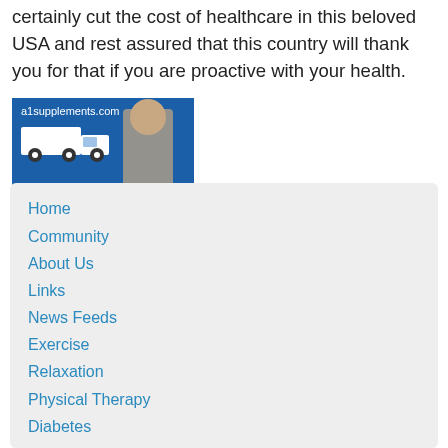certainly cut the cost of healthcare in this beloved USA and rest assured that this country will thank you for that if you are proactive with your health.
[Figure (photo): Advertisement banner for a1supplements.com featuring a muscular man holding a barbell, a delivery truck graphic, text reading FLAT RATE SHIPPING!, and the A1 logo in a white box on a blue background.]
Fifth, continue the fun, the exercise, the right food, family and peace of mind.
Home
Community
About Us
Links
News Feeds
Exercise
Relaxation
Physical Therapy
Diabetes